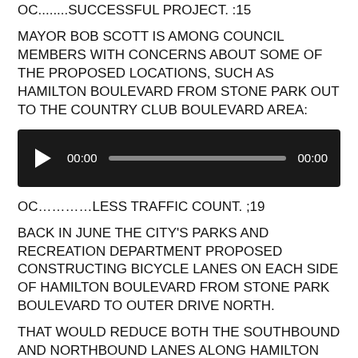OC........SUCCESSFUL PROJECT. :15
MAYOR BOB SCOTT IS AMONG COUNCIL MEMBERS WITH CONCERNS ABOUT SOME OF THE PROPOSED LOCATIONS, SUCH AS HAMILTON BOULEVARD FROM STONE PARK OUT TO THE COUNTRY CLUB BOULEVARD AREA:
[Figure (other): Audio player widget with play button, 00:00 start time, progress bar, and 00:00 end time on dark background]
OC………..LESS TRAFFIC COUNT. ;19
BACK IN JUNE THE CITY'S PARKS AND RECREATION DEPARTMENT PROPOSED CONSTRUCTING BICYCLE LANES ON EACH SIDE OF HAMILTON BOULEVARD FROM STONE PARK BOULEVARD TO OUTER DRIVE NORTH.
THAT WOULD REDUCE BOTH THE SOUTHBOUND AND NORTHBOUND LANES ALONG HAMILTON FROM STONE PARK BOULEVARD TO COUNTRY CLUB BOULEVARD FROM FOUR-